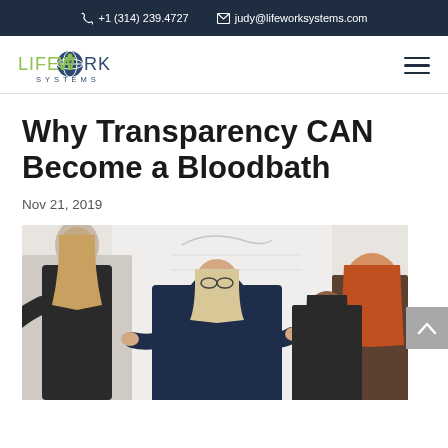+1 (314) 239.4727   judy@lifeworksystems.com
[Figure (logo): Lifework Systems logo with globe icon]
Why Transparency CAN Become a Bloodbath
Nov 21, 2019
[Figure (photo): Business workshop scene with a woman presenting to a group, gesturing with hands]